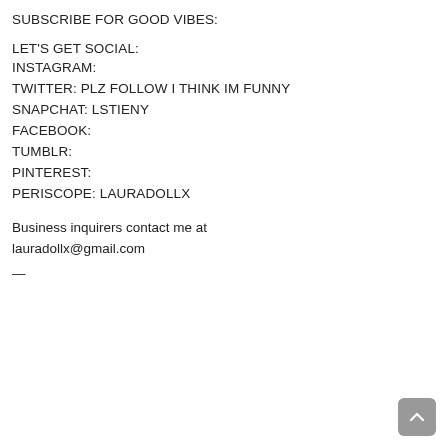SUBSCRIBE FOR GOOD VIBES:
LET'S GET SOCIAL:
INSTAGRAM:
TWITTER: PLZ FOLLOW I THINK IM FUNNY
SNAPCHAT: LSTIENY
FACEBOOK:
TUMBLR:
PINTEREST:
PERISCOPE: LAURADOLLX
Business inquirers contact me at lauradollx@gmail.com
—